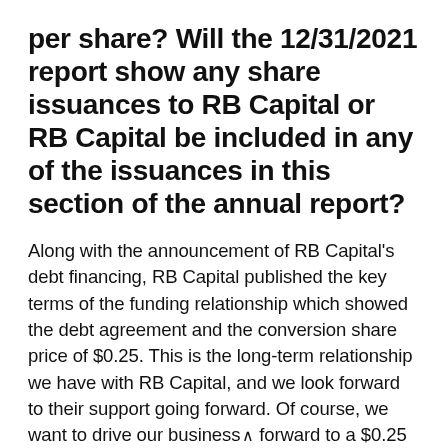per share? Will the 12/31/2021 report show any share issuances to RB Capital or RB Capital be included in any of the issuances in this section of the annual report?
Along with the announcement of RB Capital's debt financing, RB Capital published the key terms of the funding relationship which showed the debt agreement and the conversion share price of $0.25. This is the long-term relationship we have with RB Capital, and we look forward to their support going forward. Of course, we want to drive our business forward to a $0.25 share price as rapidly as possible